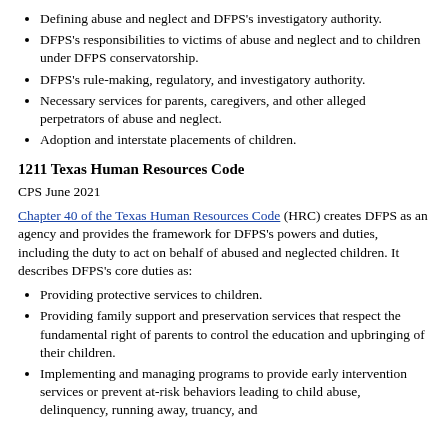Defining abuse and neglect and DFPS's investigatory authority.
DFPS's responsibilities to victims of abuse and neglect and to children under DFPS conservatorship.
DFPS's rule-making, regulatory, and investigatory authority.
Necessary services for parents, caregivers, and other alleged perpetrators of abuse and neglect.
Adoption and interstate placements of children.
1211 Texas Human Resources Code
CPS June 2021
Chapter 40 of the Texas Human Resources Code (HRC) creates DFPS as an agency and provides the framework for DFPS's powers and duties, including the duty to act on behalf of abused and neglected children. It describes DFPS's core duties as:
Providing protective services to children.
Providing family support and preservation services that respect the fundamental right of parents to control the education and upbringing of their children.
Implementing and managing programs to provide early intervention services or prevent at-risk behaviors leading to child abuse, delinquency, running away, truancy, and